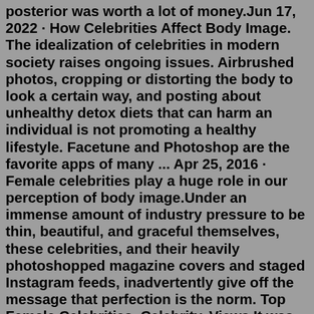posterior was worth a lot of money.Jun 17, 2022 · How Celebrities Affect Body Image. The idealization of celebrities in modern society raises ongoing issues. Airbrushed photos, cropping or distorting the body to look a certain way, and posting about unhealthy detox diets that can harm an individual is not promoting a healthy lifestyle. Facetune and Photoshop are the favorite apps of many ... Apr 25, 2016 · Female celebrities play a huge role in our perception of body image.Under an immense amount of industry pressure to be thin, beautiful, and graceful themselves, these celebrities, and their heavily photoshopped magazine covers and staged Instagram feeds, inadvertently give off the message that perfection is the norm. Top Female Celebrities. Celebrity. Views.It was found that body images presented in Instagram highlighted sexuality and attractiveness by emphasizing slim body, long hair, with fewer clothing, followed by The aim of the research was to explore the ways that female body image was presented and interpreted on